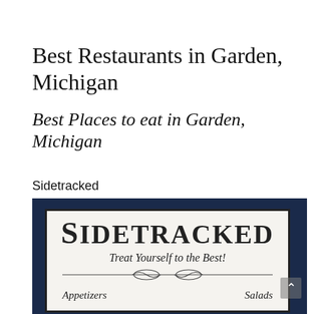Best Restaurants in Garden, Michigan
Best Places to eat in Garden, Michigan
Sidetracked
[Figure (photo): Photo of a Sidetracked restaurant menu card on a dark navy background. The menu card reads 'SIDETRACKED' in large serif bold uppercase letters, with tagline 'Treat Yourself to the Best!' in italic script below, followed by a decorative divider. At the bottom are column headers 'Appetizers' and 'Salads'.]